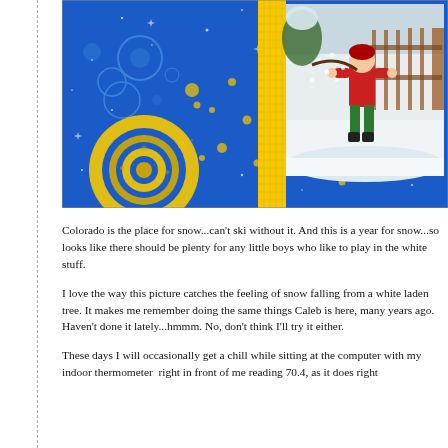[Figure (photo): A digital scrapbook page with a blue background featuring yellow concentric circles in the lower-left, golden bubble/circle decorations scattered around, and a yellow grid-patterned border framing a photo of a child in a red jacket and green pants playing in snow, shaking snow from a tree branch. The background is royal blue with sparkle/star decorations.]
Colorado is the place for snow...can't ski without it. And this is a year for snow...so looks like there should be plenty for any little boys who like to play in the white stuff.
I love the way this picture catches the feeling of snow falling from a white laden tree. It makes me remember doing the same things Caleb is here, many years ago. Haven't done it lately...hmmm. No, don't think I'll try it either.
These days I will occasionally get a chill while sitting at the computer with my indoor thermometer  right in front of me reading 70.4, as it does right